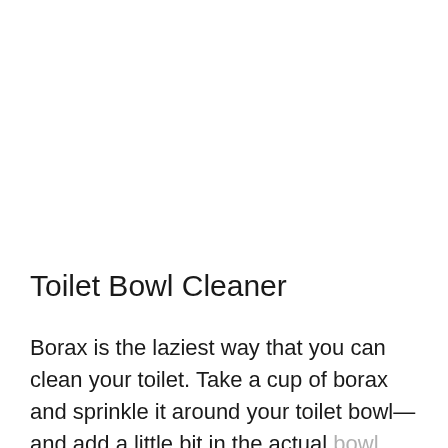Toilet Bowl Cleaner
Borax is the laziest way that you can clean your toilet. Take a cup of borax and sprinkle it around your toilet bowl—and add a little bit in the actual bowl itself—before you go to bed. With a little bit of time to do its thing, borax will break down stains